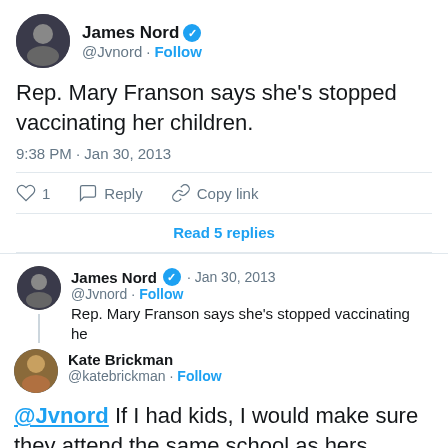[Figure (screenshot): Twitter/X screenshot showing tweets by James Nord (@Jvnord) and Kate Brickman (@katebrickman). James Nord's tweet reads: 'Rep. Mary Franson says she's stopped vaccinating her children.' posted at 9:38 PM Jan 30, 2013, with 1 like, Reply and Copy link options, and 'Read 5 replies'. Below is a reply thread showing James Nord's original tweet and Kate Brickman's reply '@Jvnord If I had kids, I would make sure they attend the same school as hers......' at 9:41 PM Jan 30, 2013.]